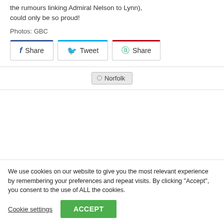the rumours linking Admiral Nelson to Lynn), could only be so proud!
Photos: GBC
[Figure (infographic): Three social share buttons: Facebook Share (blue top border), Twitter Tweet (cyan top border), Pinterest Share (red top border)]
Norfolk
We use cookies on our website to give you the most relevant experience by remembering your preferences and repeat visits. By clicking "Accept", you consent to the use of ALL the cookies.
Cookie settings
ACCEPT